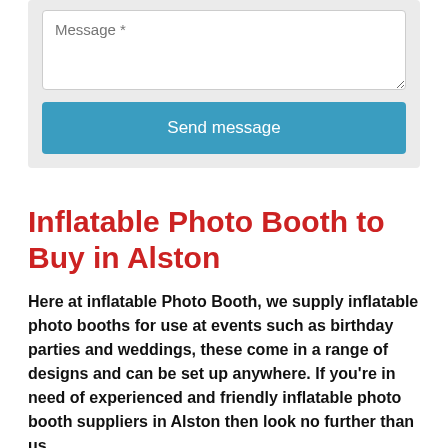[Figure (screenshot): A web form section with a message textarea and a 'Send message' button on a light grey background]
Inflatable Photo Booth to Buy in Alston
Here at inflatable Photo Booth, we supply inflatable photo booths for use at events such as birthday parties and weddings, these come in a range of designs and can be set up anywhere. If you're in need of experienced and friendly inflatable photo booth suppliers in Alston then look no further than us.
If looking for an inflatable photo booth to buy in Alston EX13 7 we are the market leaders in offering many different designs. The inflatable photobooths come with fantastic LED lighting which is great fun for everyone attending weddings, school proms, birthday